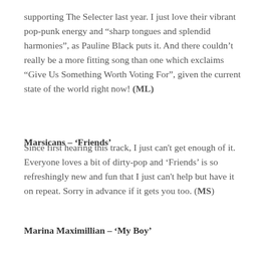supporting The Selecter last year. I just love their vibrant pop-punk energy and “sharp tongues and splendid harmonies”, as Pauline Black puts it. And there couldn’t really be a more fitting song than one which exclaims “Give Us Something Worth Voting For”, given the current state of the world right now! (ML)
Marsicans – ‘Friends’
Since first hearing this track, I just can't get enough of it. Everyone loves a bit of dirty-pop and ‘Friends’ is so refreshingly new and fun that I just can't help but have it on repeat. Sorry in advance if it gets you too. (MS)
Marina Maximillian – ‘My Boy’
The new single from the Ukranian artist, ‘My Boy’ was inspired by Marina Maximilian’s love for her unborn child – as she says “It’s about the adventure that is life, but also its hidden dangers”. It’s a vintage-inspired sonic delight, oozing glitchy ethereal beats and unique vocals. (ML)
The Cribs – ‘Our Bovine Public’